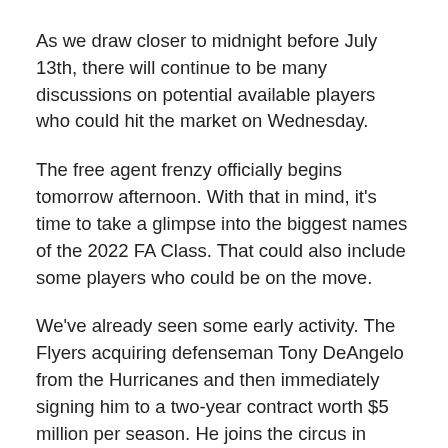As we draw closer to midnight before July 13th, there will continue to be many discussions on potential available players who could hit the market on Wednesday.
The free agent frenzy officially begins tomorrow afternoon. With that in mind, it’s time to take a glimpse into the biggest names of the 2022 FA Class. That could also include some players who could be on the move.
We’ve already seen some early activity. The Flyers acquiring defenseman Tony DeAngelo from the Hurricanes and then immediately signing him to a two-year contract worth $5 million per season. He joins the circus in Philadelphia with Kevin Hayes and John Tortorella. That should be interesting to follow.
After moving on from Stanley Cup winning goalie Darcy